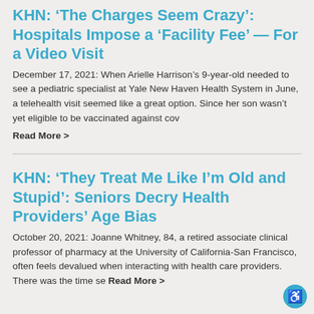KHN: ‘The Charges Seem Crazy’: Hospitals Impose a ‘Facility Fee’ — For a Video Visit
December 17, 2021: When Arielle Harrison’s 9-year-old needed to see a pediatric specialist at Yale New Haven Health System in June, a telehealth visit seemed like a great option. Since her son wasn’t yet eligible to be vaccinated against cov
Read More >
KHN: ‘They Treat Me Like I’m Old and Stupid’: Seniors Decry Health Providers’ Age Bias
October 20, 2021: Joanne Whitney, 84, a retired associate clinical professor of pharmacy at the University of California-San Francisco, often feels devalued when interacting with health care providers. There was the time se
Read More >